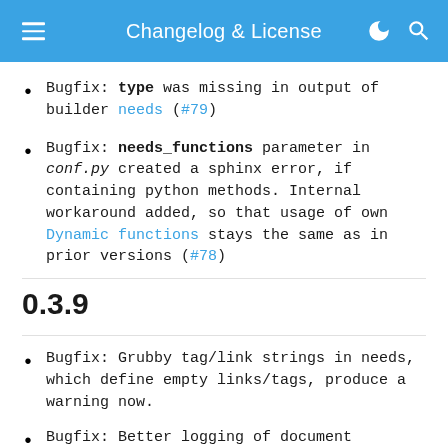Changelog & License
Bugfix: type was missing in output of builder needs (#79)
Bugfix: needs_functions parameter in conf.py created a sphinx error, if containing python methods. Internal workaround added, so that usage of own Dynamic functions stays the same as in prior versions (#78)
0.3.9
Bugfix: Grubby tag/link strings in needs, which define empty links/tags, produce a warning now.
Bugfix: Better logging of document location, if